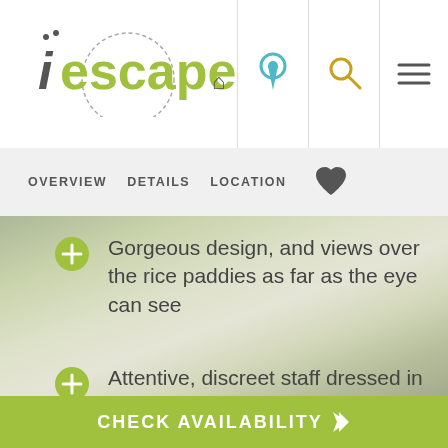iescape
OVERVIEW   DETAILS   LOCATION
Gorgeous design, and views over the rice paddies as far as the eye can see
Attentive, discreet staff dressed in immaculate white linen, and a lovely English general manager
Space for everyone: couples, friends, solos and families
Environmental awareness
CHECK AVAILABILITY